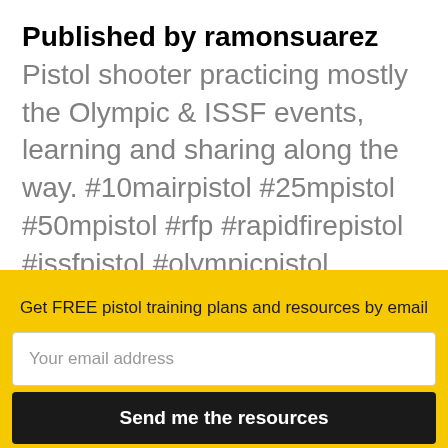Published by ramonsuarez Pistol shooter practicing mostly the Olympic & ISSF events, learning and sharing along the way. #10mairpistol #25mpistol #50mpistol #rfp #rapidfirepistol #issfpistol #olympicpistol
View more posts
Get FREE pistol training plans and resources by email
Your email address
Send me the resources